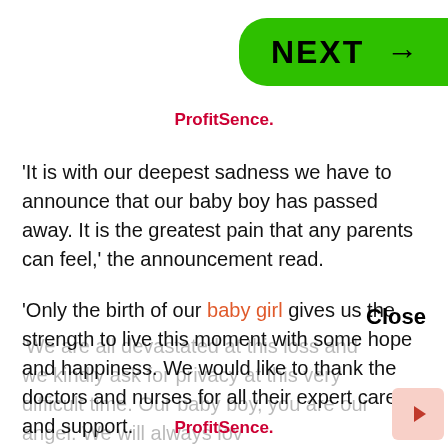[Figure (other): Green NEXT button with arrow on top right]
ProfitSence.
'It is with our deepest sadness we have to announce that our baby boy has passed away. It is the greatest pain that any parents can feel,' the announcement read.
'Only the birth of our baby girl gives us the strength to live this moment with some hope and happiness. We would like to thank the doctors and nurses for all their expert care and support.
Close
'We are all devastated at this loss and we kindly ask for privacy at this very difficult time. Our baby boy, you are our angel. We will always lov
ProfitSence.